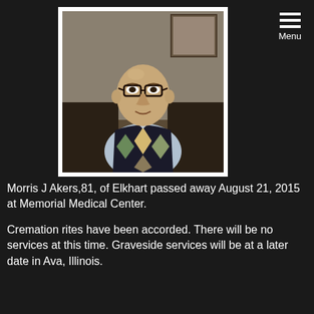[Figure (photo): Portrait photo of Morris J Akers, an elderly man wearing glasses and an argyle sweater vest, seated indoors]
Morris J Akers,81, of Elkhart passed away August 21, 2015 at Memorial Medical Center.
Cremation rites have been accorded. There will be no services at this time. Graveside services will be at a later date in Ava, Illinois.